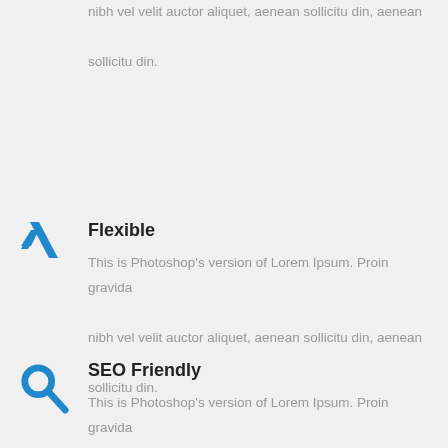nibh vel velit auctor aliquet, aenean sollicitu din, aenean sollicitu din.
[Figure (illustration): Blue Xing-style chevron/arrow icon]
Flexible
This is Photoshop’s version of Lorem Ipsum. Proin gravida nibh vel velit auctor aliquet, aenean sollicitu din, aenean sollicitu din.
[Figure (illustration): Blue search/magnifying glass icon]
SEO Friendly
This is Photoshop’s version of Lorem Ipsum. Proin gravida nibh vel velit auctor aliquet, aenean sollicitu din, aenean sollicitu din.